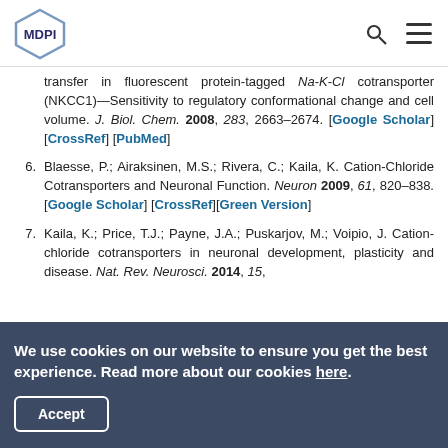MDPI [logo] [search icon] [menu icon]
transfer in fluorescent protein-tagged Na-K-Cl cotransporter (NKCC1)—Sensitivity to regulatory conformational change and cell volume. J. Biol. Chem. 2008, 283, 2663–2674. [Google Scholar] [CrossRef] [PubMed]
6. Blaesse, P.; Airaksinen, M.S.; Rivera, C.; Kaila, K. Cation-Chloride Cotransporters and Neuronal Function. Neuron 2009, 61, 820–838. [Google Scholar] [CrossRef][Green Version]
7. Kaila, K.; Price, T.J.; Payne, J.A.; Puskarjov, M.; Voipio, J. Cation-chloride cotransporters in neuronal development, plasticity and disease. Nat. Rev. Neurosci. 2014, 15,
We use cookies on our website to ensure you get the best experience. Read more about our cookies here. Accept